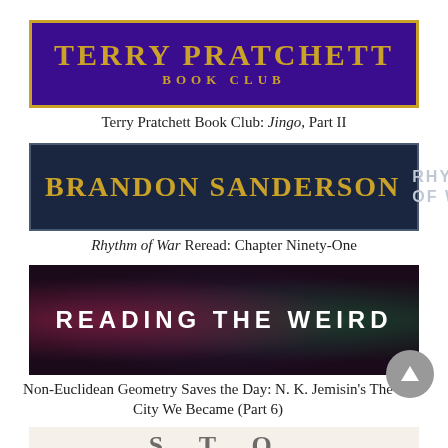[Figure (logo): Terry Pratchett Book Club banner: purple background with gold border, text 'TERRY PRATCHETT BOOK CLUB' in gold serif capitals]
Terry Pratchett Book Club: Jingo, Part II
[Figure (logo): Brandon Sanderson Rhythm of War banner: dark navy background, gold 'BRANDON SANDERSON' text and lighter 'RHYTHM OF WAR' text]
Rhythm of War Reread: Chapter Ninety-One
[Figure (illustration): Reading the Weird banner: dark background with colorful skull/smoky patterns, white text 'READING THE WEIRD']
Non-Euclidean Geometry Saves the Day: N. K. Jemisin's The City We Became (Part 6)
[Figure (illustration): Partial banner visible at bottom of page, light tan/cream background with partial dark text visible]